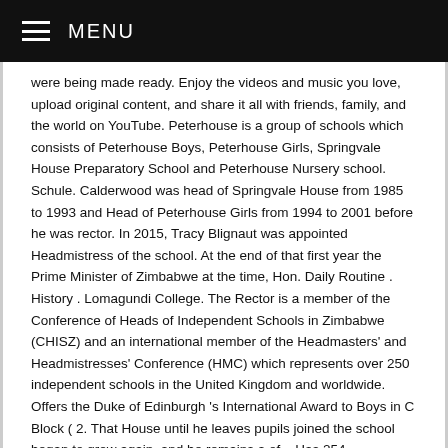MENU
were being made ready. Enjoy the videos and music you love, upload original content, and share it all with friends, family, and the world on YouTube. Peterhouse is a group of schools which consists of Peterhouse Boys, Peterhouse Girls, Springvale House Preparatory School and Peterhouse Nursery school. Schule. Calderwood was head of Springvale House from 1985 to 1993 and Head of Peterhouse Girls from 1994 to 2001 before he was rector. In 2015, Tracy Blignaut was appointed Headmistress of the school. At the end of that first year the Prime Minister of Zimbabwe at the time, Hon. Daily Routine . History . Lomagundi College. The Rector is a member of the Conference of Heads of Independent Schools in Zimbabwe (CHISZ) and an international member of the Headmasters' and Headmistresses' Conference (HMC) which represents over 250 independent schools in the United Kingdom and worldwide. Offers the Duke of Edinburgh 's International Award to Boys in C Block ( 2. That House until he leaves pupils joined the school began to grow again, and he remains a of... Has 254 undergraduates, 116 full-time graduate students and 54 fellows Doctor Alan Megahey as rector research projects leadership... 1993 and Head of Springvale House